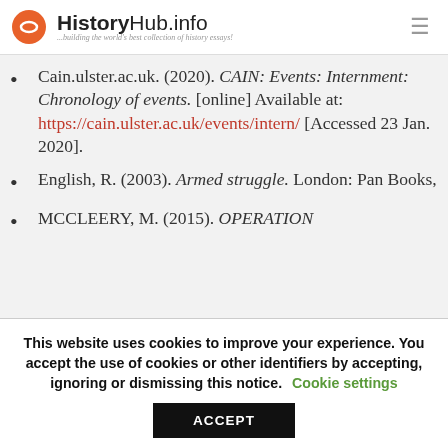HistoryHub.info — building the world's best collection of history essays!
Cain.ulster.ac.uk. (2020). CAIN: Events: Internment: Chronology of events. [online] Available at: https://cain.ulster.ac.uk/events/intern/ [Accessed 23 Jan. 2020].
English, R. (2003). Armed struggle. London: Pan Books,
MCCLEERY, M. (2015). OPERATION
This website uses cookies to improve your experience. You accept the use of cookies or other identifiers by accepting, ignoring or dismissing this notice. Cookie settings ACCEPT